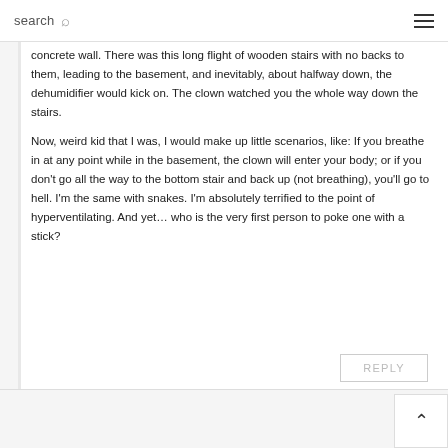search ☰
concrete wall. There was this long flight of wooden stairs with no backs to them, leading to the basement, and inevitably, about halfway down, the dehumidifier would kick on. The clown watched you the whole way down the stairs.
Now, weird kid that I was, I would make up little scenarios, like: If you breathe in at any point while in the basement, the clown will enter your body; or if you don't go all the way to the bottom stair and back up (not breathing), you'll go to hell. I'm the same with snakes. I'm absolutely terrified to the point of hyperventilating. And yet… who is the very first person to poke one with a stick?
REPLY